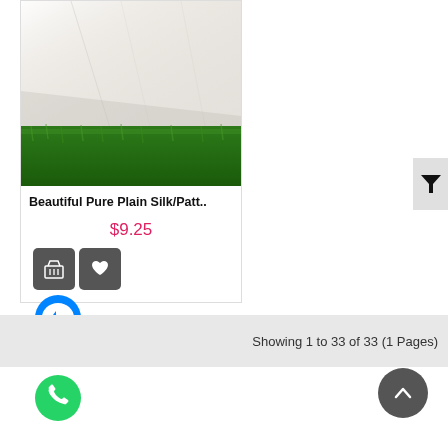[Figure (photo): Product photo of white/cream silk fabric on green grass background]
Beautiful Pure Plain Silk/Patt..
$9.25
[Figure (other): Shopping cart and heart/wishlist icon buttons]
[Figure (other): Filter icon (funnel/triangle shape) in grey box at top right]
[Figure (other): Facebook Messenger chat icon (blue circle with lightning bolt)]
Showing 1 to 33 of 33 (1 Pages)
[Figure (other): WhatsApp icon (green circle with phone handset)]
[Figure (other): Back to top button (dark grey circle with upward chevron arrow)]